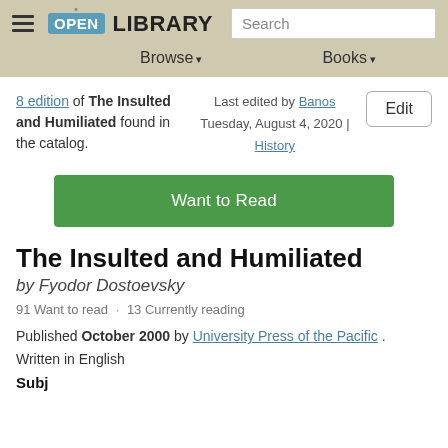Open Library — Browse | Books | Search
8 edition of The Insulted and Humiliated found in the catalog.
Last edited by Banos
Tuesday, August 4, 2020 | History
Edit
Want to Read
The Insulted and Humiliated
by Fyodor Dostoevsky
91 Want to read · 13 Currently reading
Published October 2000 by University Press of the Pacific . Written in English
Subjects